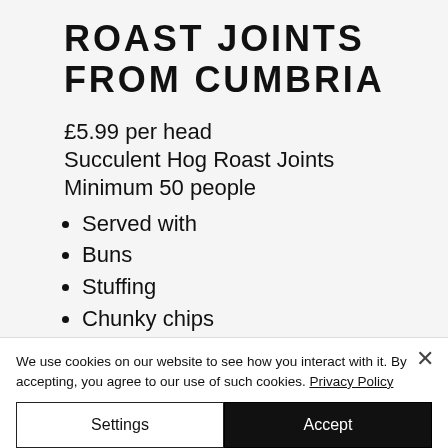ROAST JOINTS FROM CUMBRIA
£5.99 per head
Succulent Hog Roast Joints
Minimum 50 people
Served with
Buns
Stuffing
Chunky chips
Salads
Appel sauce
Served to you by our chef
We use cookies on our website to see how you interact with it. By accepting, you agree to our use of such cookies. Privacy Policy